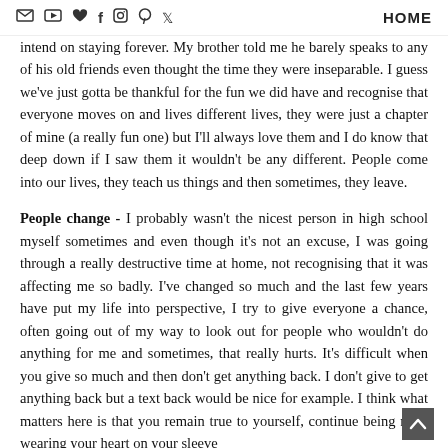[icons: email, youtube, heart, facebook, instagram, pinterest, twitter]  HOME
intend on staying forever. My brother told me he barely speaks to any of his old friends even thought the time they were inseparable. I guess we've just gotta be thankful for the fun we did have and recognise that everyone moves on and lives different lives, they were just a chapter of mine (a really fun one) but I'll always love them and I do know that deep down if I saw them it wouldn't be any different. People come into our lives, they teach us things and then sometimes, they leave.

People change - I probably wasn't the nicest person in high school myself sometimes and even though it's not an excuse, I was going through a really destructive time at home, not recognising that it was affecting me so badly. I've changed so much and the last few years have put my life into perspective, I try to give everyone a chance, often going out of my way to look out for people who wouldn't do anything for me and sometimes, that really hurts. It's difficult when you give so much and then don't get anything back. I don't give to get anything back but a text back would be nice for example. I think what matters here is that you remain true to yourself, continue being nice, wearing your heart on your sleeve